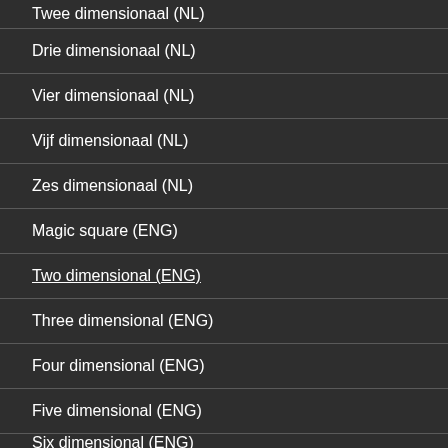Twee dimensionaal (NL)
Drie dimensionaal (NL)
Vier dimensionaal (NL)
Vijf dimensionaal (NL)
Zes dimensionaal (NL)
Magic square (ENG)
Two dimensional (ENG)
Three dimensional (ENG)
Four dimensional (ENG)
Five dimensional (ENG)
Six dimensional (ENG)